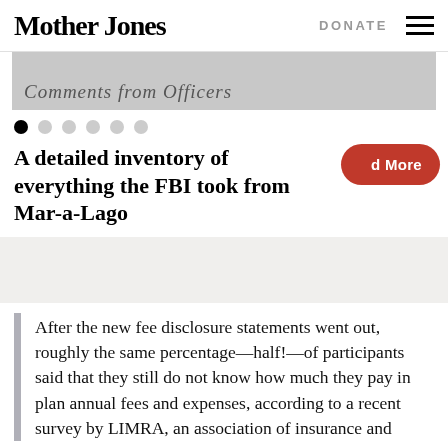Mother Jones | DONATE
[Figure (photo): Blurred image strip showing cursive-style text, partially visible, in grayscale]
Dot navigation indicators (carousel), 6 dots, first dot active
A detailed inventory of everything the FBI took from Mar-a-Lago
After the new fee disclosure statements went out, roughly the same percentage—half!—of participants said that they still do not know how much they pay in plan annual fees and expenses, according to a recent survey by LIMRA, an association of insurance and